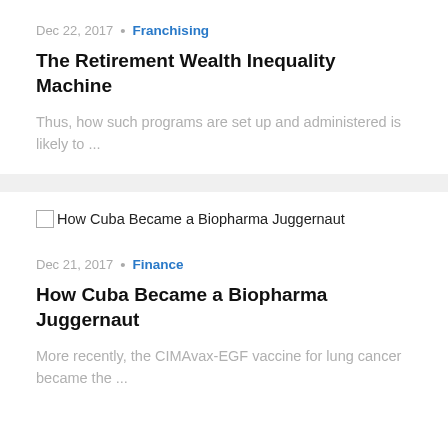Dec 22, 2017 • Franchising
The Retirement Wealth Inequality Machine
Thus, how such programs are set up and administered is likely to ...
[Figure (photo): Broken image placeholder for 'How Cuba Became a Biopharma Juggernaut']
Dec 21, 2017 • Finance
How Cuba Became a Biopharma Juggernaut
More recently, the CIMAvax-EGF vaccine for lung cancer became the ...